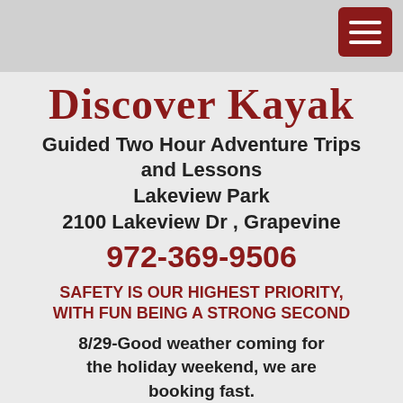[Figure (other): Navigation hamburger menu icon (three white horizontal lines) on dark red rounded square background in top right corner of page header area]
Discover Kayak
Guided Two Hour Adventure Trips and Lessons
Lakeview Park
2100 Lakeview Dr , Grapevine
972-369-9506
SAFETY IS OUR HIGHEST PRIORITY, WITH FUN BEING A STRONG SECOND
8/29-Good weather coming for the holiday weekend, we are booking fast.
Two hour tours are $40 for adults and $30 for kids
Perfect for beginners, families or experienced kayakers
Lessons from Texas most